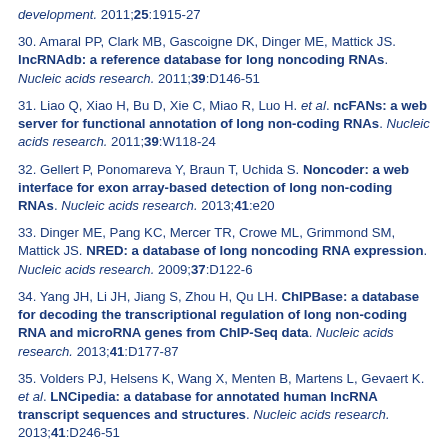development. 2011;25:1915-27
30. Amaral PP, Clark MB, Gascoigne DK, Dinger ME, Mattick JS. lncRNAdb: a reference database for long noncoding RNAs. Nucleic acids research. 2011;39:D146-51
31. Liao Q, Xiao H, Bu D, Xie C, Miao R, Luo H. et al. ncFANs: a web server for functional annotation of long non-coding RNAs. Nucleic acids research. 2011;39:W118-24
32. Gellert P, Ponomareva Y, Braun T, Uchida S. Noncoder: a web interface for exon array-based detection of long non-coding RNAs. Nucleic acids research. 2013;41:e20
33. Dinger ME, Pang KC, Mercer TR, Crowe ML, Grimmond SM, Mattick JS. NRED: a database of long noncoding RNA expression. Nucleic acids research. 2009;37:D122-6
34. Yang JH, Li JH, Jiang S, Zhou H, Qu LH. ChIPBase: a database for decoding the transcriptional regulation of long non-coding RNA and microRNA genes from ChIP-Seq data. Nucleic acids research. 2013;41:D177-87
35. Volders PJ, Helsens K, Wang X, Menten B, Martens L, Gevaert K. et al. LNCipedia: a database for annotated human lncRNA transcript sequences and structures. Nucleic acids research. 2013;41:D246-51
36. Paraskevopoulou MD, Georgakilas G, Kostoulas N, Reczko M, Maragkakis M, Dalamagas TM. et al. DIANA-LncBase: experimentally verified and computationally predicted microRNA targets on long non-coding RNAs. Nucleic acids research. 2013;41:D239-45